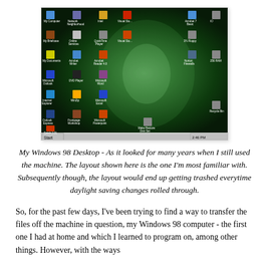[Figure (screenshot): A Windows 98 desktop screenshot showing a dark green fractal/explosion wallpaper with numerous desktop icons arranged on the left and right sides, and a taskbar at the bottom.]
My Windows 98 Desktop - As it looked for many years when I still used the machine. The layout shown here is the one I'm most familiar with. Subsequently though, the layout would end up getting trashed everytime daylight saving changes rolled through.
So, for the past few days, I've been trying to find a way to transfer the files off the machine in question, my Windows 98 computer - the first one I had at home and which I learned to program on, among other things. However, with the ways